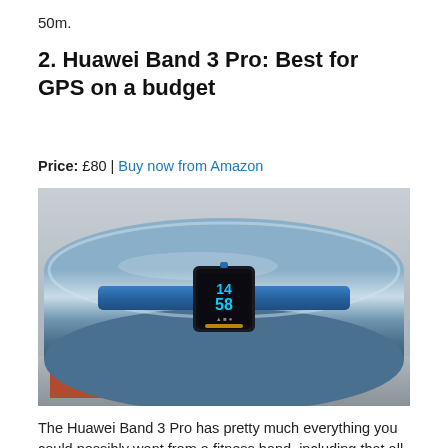50m.
2. Huawei Band 3 Pro: Best for GPS on a budget
Price: £80 | Buy now from Amazon
[Figure (photo): Huawei Band 3 Pro fitness tracker in blue, wrapped around a blue metal pipe, with the display showing 14:58.]
The Huawei Band 3 Pro has pretty much everything you could possibly want from a fitness band, including that all-